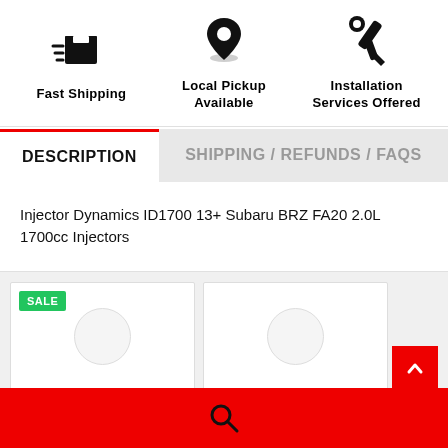[Figure (infographic): Three feature icons in a row: shipping box (Fast Shipping), location pin (Local Pickup Available), wrench/hand (Installation Services Offered)]
Fast Shipping
Local Pickup Available
Installation Services Offered
DESCRIPTION
SHIPPING / REFUNDS / FAQS
Injector Dynamics ID1700 13+ Subaru BRZ FA20 2.0L 1700cc Injectors
[Figure (other): SALE badge on product card (left), two product cards with circular placeholder images]
[Figure (other): Red scroll-to-top button with up arrow chevron]
[Figure (other): Red search bar at bottom with magnifying glass icon]